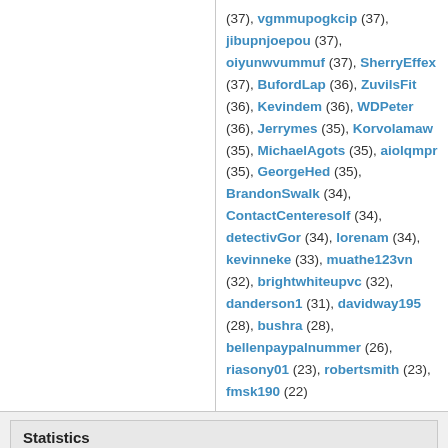(37), vgmmupogkcip (37), jibupnjoepou (37), oiyunwvummuf (37), SherryEffex (37), BufordLap (36), ZuvilsFit (36), Kevindem (36), WDPeter (36), Jerrymes (35), Korvolamaw (35), MichaelAgots (35), aiolqmpr (35), GeorgeHed (35), BrandonSwalk (34), ContactCenteresolf (34), detectivGor (34), lorenam (34), kevinneke (33), muathe123vn (32), brightwhiteupvc (32), danderson1 (31), davidway195 (28), bushra (28), bellenpaypalnummer (26), riasony01 (23), robertsmith (23), fmsk190 (22)
Statistics
Total posts 139924 | Total topics 25275 | Total members 186268 | Our newest member ShivamSP
Login
Username:    Password:    Log me on automatically each visit   Login
Unread posts
No unread posts
Forum locked